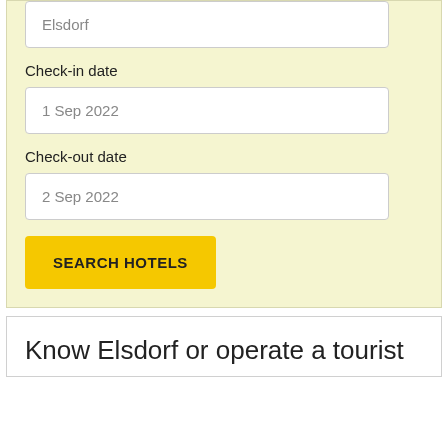Elsdorf
Check-in date
1 Sep 2022
Check-out date
2 Sep 2022
SEARCH HOTELS
Know Elsdorf or operate a tourist